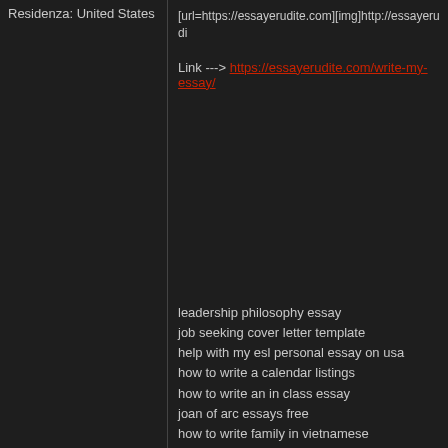Residenza: United States
[url=https://essayerudite.com][img]http://essayerudi
Link ---> https://essayerudite.com/write-my-essay/
leadership philosophy essay
job seeking cover letter template
help with my esl personal essay on usa
how to write a calendar listings
how to write an in class essay
joan of arc essays free
how to write family in vietnamese